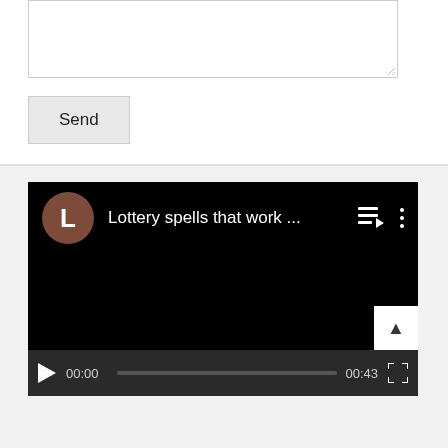[Figure (screenshot): A textarea input box (empty) with resize handle at bottom-right corner]
[Figure (screenshot): A 'Send' button with light gray background]
[Figure (screenshot): A YouTube-style video player showing black screen with title 'Lottery spells that work ...' and avatar 'L', with video controls showing 00:00 / 00:43 timestamp]